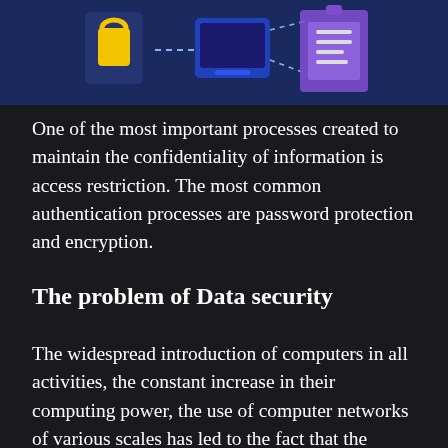[Figure (illustration): Dark blue background illustration showing security-themed icons: a padlock, dotted arrows, a laptop/tablet, and a purple document/clipboard. Tech security concept art with purple and yellow accents on dark blue.]
One of the most important processes created to maintain the confidentiality of information is access restriction. The most common authentication processes are password protection and encryption.
The problem of Data security
The widespread introduction of computers in all activities, the constant increase in their computing power, the use of computer networks of various scales has led to the fact that the threat of loss of confidential...